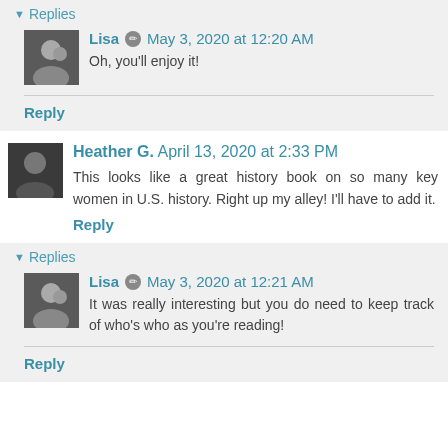▼ Replies
Lisa ✏ May 3, 2020 at 12:20 AM
Oh, you'll enjoy it!
Reply
Heather G. April 13, 2020 at 2:33 PM
This looks like a great history book on so many key women in U.S. history. Right up my alley! I'll have to add it.
Reply
▼ Replies
Lisa ✏ May 3, 2020 at 12:21 AM
It was really interesting but you do need to keep track of who's who as you're reading!
Reply